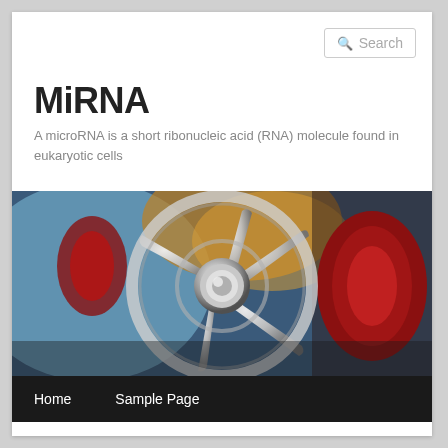Search
MiRNA
A microRNA is a short ribonucleic acid (RNA) molecule found in eukaryotic cells
[Figure (photo): Close-up photograph of a chrome wheel hub/rim with red mechanical parts in the background and blue blur]
Home  Sample Page
MONTHLY ARCHIVES: APRIL 2019